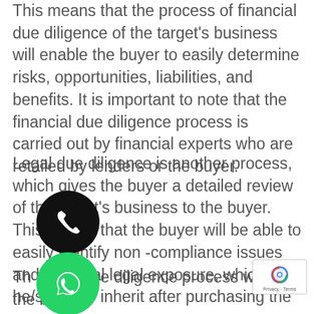This means that the process of financial due diligence of the target's business will enable the buyer to easily determine risks, opportunities, liabilities, and benefits. It is important to note that the financial due diligence process is carried out by financial experts who are retailed by lenders or the buyer.
Legal due diligence is another process, which gives the buyer a detailed review of the target's business to the buyer. This means that the buyer will be able to easily identify non -compliance issues and potential legal exposure, which he/she may inherit after purchasing the pr...
[Figure (illustration): Black circular phone call icon (telephone receiver symbol)]
[Figure (illustration): Green circular WhatsApp icon (phone in speech bubble)]
Th... due diligence process will give the buyer... detailed review of the company's real estate asset... material contracts, financing's, employee benefits,
[Figure (logo): Google reCAPTCHA badge with Privacy and Terms text]